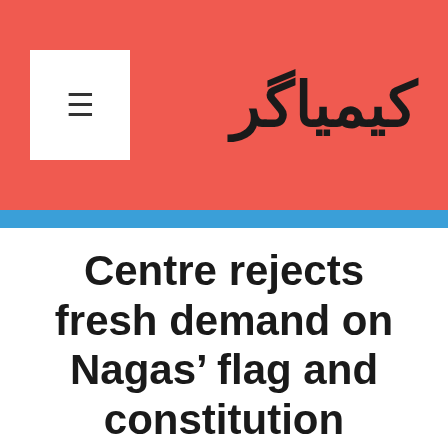کیمیاگر
Centre rejects fresh demand on Nagas' flag and constitution
سپتامبر 21, 2020 از kimyagaaaar
Guwahati: The government of India in its ongoing informal talks with NSCN (I-M) has made it clear that Centre was not going to concede to their demand for a separate flag